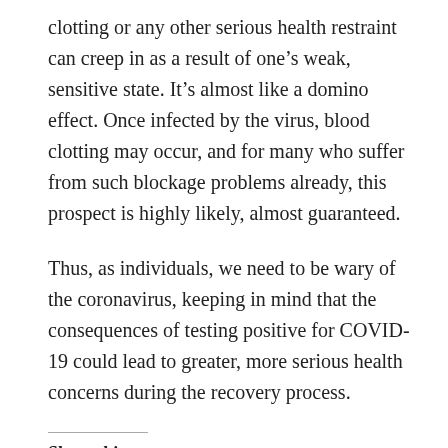clotting or any other serious health restraint can creep in as a result of one's weak, sensitive state. It's almost like a domino effect. Once infected by the virus, blood clotting may occur, and for many who suffer from such blockage problems already, this prospect is highly likely, almost guaranteed.
Thus, as individuals, we need to be wary of the coronavirus, keeping in mind that the consequences of testing positive for COVID-19 could lead to greater, more serious health concerns during the recovery process.
Share this: